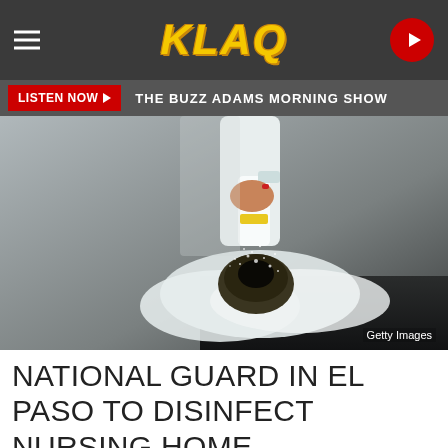KLAQ
LISTEN NOW ▶  THE BUZZ ADAMS MORNING SHOW
[Figure (photo): Person in white gloves spraying disinfectant from a spray bottle onto a surface, with spray mist visible. Getty Images watermark.]
Getty Images
NATIONAL GUARD IN EL PASO TO DISINFECT NURSING HOME